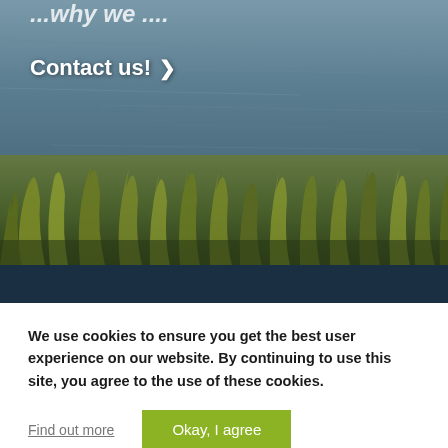[Figure (photo): Coastal or lakeside scene with dark blue-grey water with ripples/waves in the upper portion and green/yellow grass reeds in the foreground lower portion. The image is partially cropped at the top.]
Contact us! >
We use cookies to ensure you get the best user experience on our website. By continuing to use this site, you agree to the use of these cookies.
Find out more
Okay, I agree